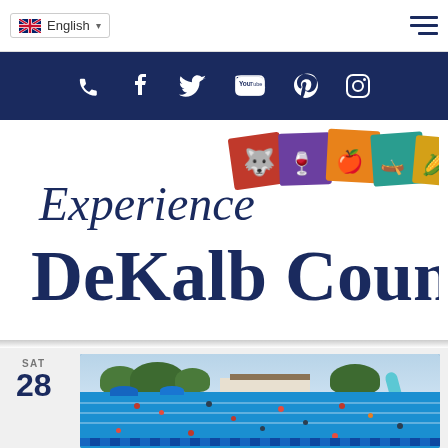English (language selector) | Hamburger menu
[Figure (screenshot): Social media icon bar with phone, Facebook, Twitter, YouTube, Pinterest, and Instagram icons on dark navy background]
[Figure (logo): Experience DeKalb County logo with colorful icon tiles (wolf, wine, apple, kayak, corn) above the text DeKalb County]
SAT 28
[Figure (photo): Outdoor public swimming pool crowded with people swimming, blue water, trees and a water slide visible in background]